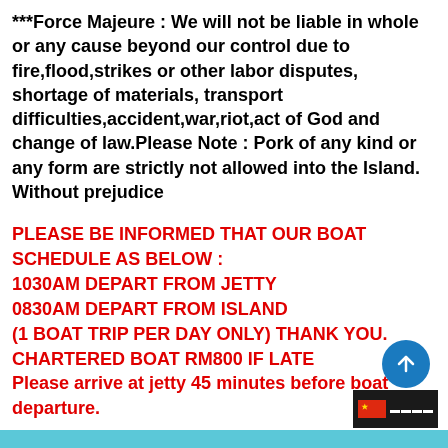***Force Majeure : We will not be liable in whole or any cause beyond our control due to fire,flood,strikes or other labor disputes, shortage of materials, transport difficulties,accident,war,riot,act of God and change of law.Please Note : Pork of any kind or any form are strictly not allowed into the Island. Without prejudice
PLEASE BE INFORMED THAT OUR BOAT SCHEDULE AS BELOW :
1030AM DEPART FROM JETTY
0830AM DEPART FROM ISLAND
(1 BOAT TRIP PER DAY ONLY) THANK YOU. CHARTERED BOAT RM800 IF LATE
Please arrive at jetty 45 minutes before boat departure.